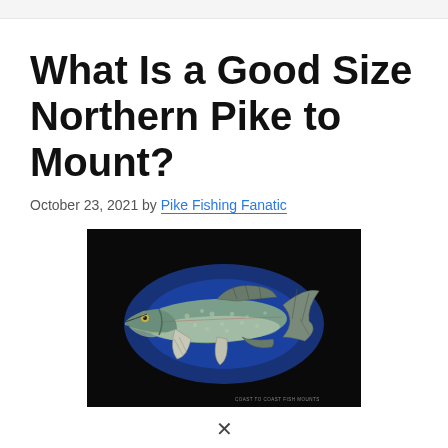What Is a Good Size Northern Pike to Mount?
October 23, 2021 by Pike Fishing Fanatic
[Figure (photo): A mounted northern pike fish displayed against a dark background with a blue oval highlight. The fish is shown in profile, gray-green with light spots, with fins and tail visible. Watermark reads 'COAST TO COAST FISH MOUNTS' at bottom right.]